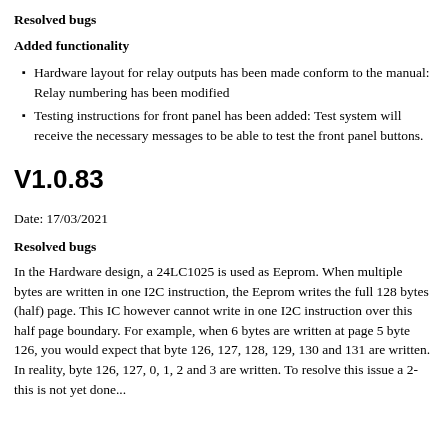Resolved bugs
Added functionality
Hardware layout for relay outputs has been made conform to the manual: Relay numbering has been modified
Testing instructions for front panel has been added: Test system will receive the necessary messages to be able to test the front panel buttons.
V1.0.83
Date: 17/03/2021
Resolved bugs
In the Hardware design, a 24LC1025 is used as Eeprom. When multiple bytes are written in one I2C instruction, the Eeprom writes the full 128 bytes (half) page. This IC however cannot write in one I2C instruction over this half page boundary. For example, when 6 bytes are written at page 5 byte 126, you would expect that byte 126, 127, 128, 129, 130 and 131 are written. In reality, byte 126, 127, 0, 1, 2 and 3 are written. To resolve this issue a 2-this is not yet done...